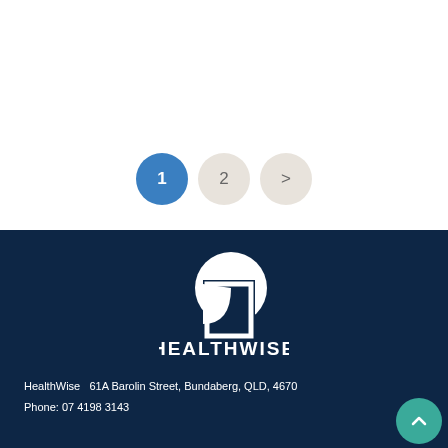[Figure (other): Dark gray/charcoal horizontal bar at top of page, partial view of a header image]
[Figure (other): Pagination controls: three circular buttons labeled 1 (active, blue), 2, and > (next arrow), on white background]
[Figure (logo): HealthWise logo: white circular shape with square cutout icon above the text HEALTHWISE in white capital letters, on dark navy background]
HealthWise  61A Barolin Street, Bundaberg, QLD, 4670
Phone: 07 4198 3143